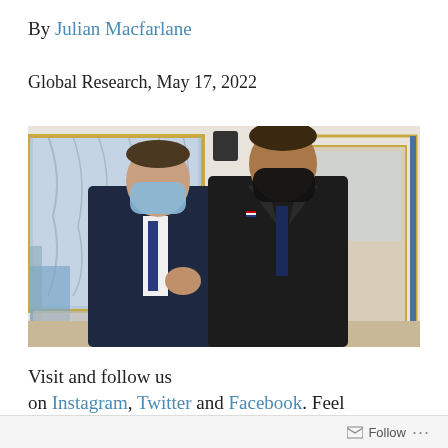By Julian Macfarlane
Global Research, May 17, 2022
[Figure (photo): Two men wearing face masks standing in an ornate room with blue and gold decor, mirrors, and curtained windows. Both are wearing dark suits. The man on the left wears a light blue surgical mask and has a clenched fist gesture; the man on the right wears a black mask.]
Visit and follow us on Instagram, Twitter and Facebook. Feel
Follow